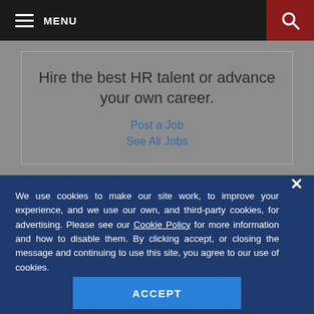MENU
Hire the best HR talent or advance your own career.
Post a Job
See All Jobs
We use cookies to make our site work, to improve your experience, and we use our own, and third-party cookies, for advertising. Please see our Cookie Policy for more information and how to disable them. By clicking accept, or closing the message and continuing to use this site, you agree to our use of cookies.
ACCEPT